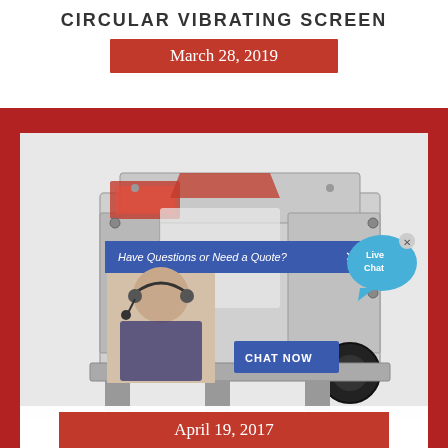CIRCULAR VIBRATING SCREEN
March 28, 2019
[Figure (photo): MPF Series Impact Crusher machine with a live chat popup overlay showing a customer service representative wearing a headset, a 'Have Questions or Need a Quote?' banner, a 'CHAT NOW' button, and a 'Live Chat' speech bubble icon]
MPF SERIES IMPACT CRUSHER
April 19, 2017